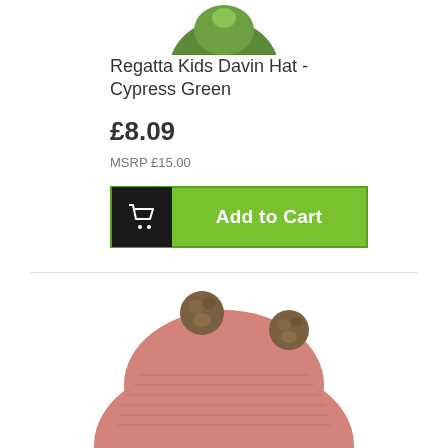[Figure (photo): Partial view of a Cypress Green kids hat at the top of the page, cropped]
Regatta Kids Davin Hat - Cypress Green
£8.09
MSRP £15.00
[Figure (other): Add to Cart button with shopping cart icon on dark background and green button with white bold text]
[Figure (photo): Pink knitted beanie hat with two faux fur pom-poms on top, partially shown]